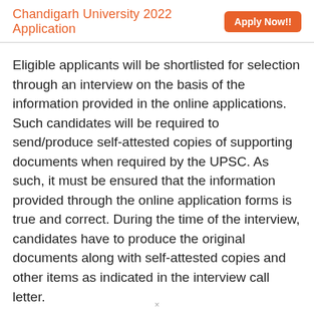Chandigarh University 2022 Application  Apply Now!!
Eligible applicants will be shortlisted for selection through an interview on the basis of the information provided in the online applications. Such candidates will be required to send/produce self-attested copies of supporting documents when required by the UPSC. As such, it must be ensured that the information provided through the online application forms is true and correct. During the time of the interview, candidates have to produce the original documents along with self-attested copies and other items as indicated in the interview call letter.